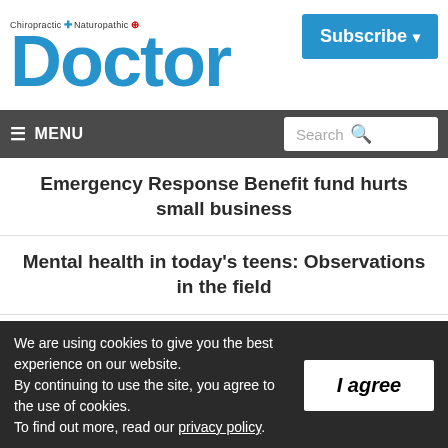Chiropractic + Naturopathic Doctor — Subscribe
≡ MENU
Emergency Response Benefit fund hurts small business
Mental health in today's teens: Observations in the field
Face masks don't hinder breathing during
We are using cookies to give you the best experience on our website. By continuing to use the site, you agree to the use of cookies. To find out more, read our privacy policy.